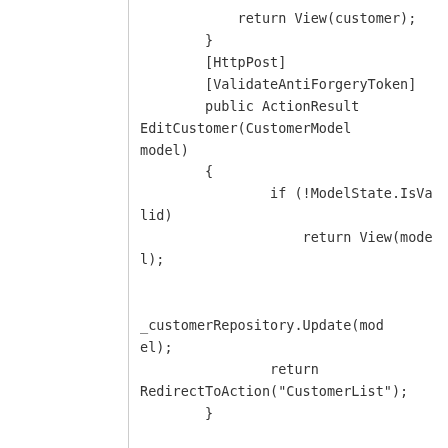return View(customer);
        }
        [HttpPost]
        [ValidateAntiForgeryToken]
        public ActionResult EditCustomer(CustomerModel model)
        {
                if (!ModelState.IsValid)
                    return View(model);


 _customerRepository.Update(model);
                return RedirectToAction("CustomerList");
        }

        public ActionResult DeleteCustomer(int customerId)
        {
                var customer =
 _categoryRepository.Find(custom